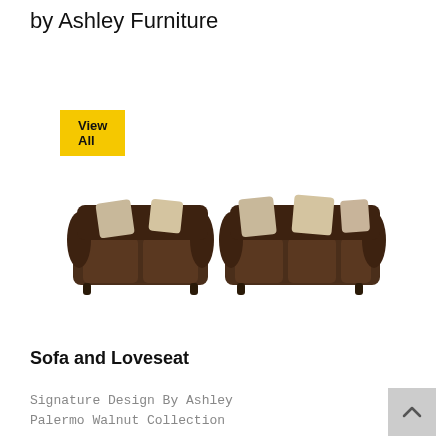by Ashley Furniture
View All
[Figure (photo): A dark brown leather sofa and loveseat set with decorative throw pillows in beige, shown side by side on a white background.]
Sofa and Loveseat
Signature Design By Ashley
Palermo Walnut Collection